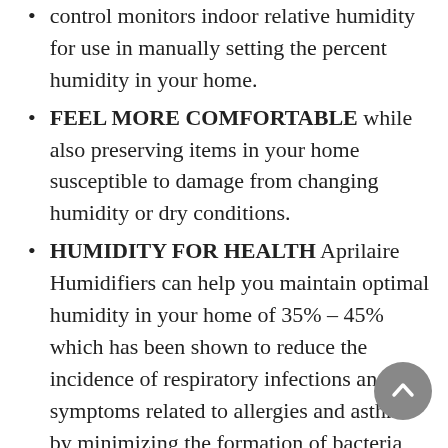control monitors indoor relative humidity for use in manually setting the percent humidity in your home.
FEEL MORE COMFORTABLE while also preserving items in your home susceptible to damage from changing humidity or dry conditions.
HUMIDITY FOR HEALTH Aprilaire Humidifiers can help you maintain optimal humidity in your home of 35% – 45% which has been shown to reduce the incidence of respiratory infections and symptoms related to allergies and asthma by minimizing the formation of bacteria and viruses, fungi, and dust mites.